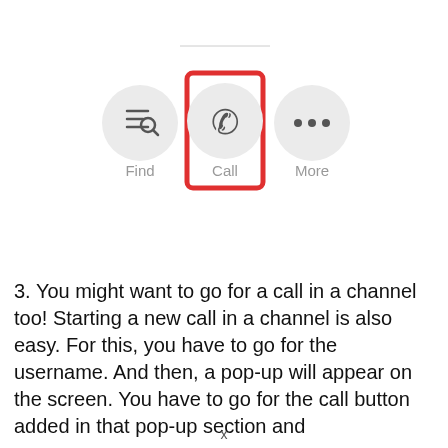[Figure (screenshot): Screenshot of a messaging app toolbar showing three buttons: Find (search/filter icon), Call (phone icon, highlighted with a red rectangle border), and More (three dots icon). The Call button is emphasized with a red rectangular border.]
3. You might want to go for a call in a channel too! Starting a new call in a channel is also easy. For this, you have to go for the username. And then, a pop-up will appear on the screen. You have to go for the call button added in that pop-up section and